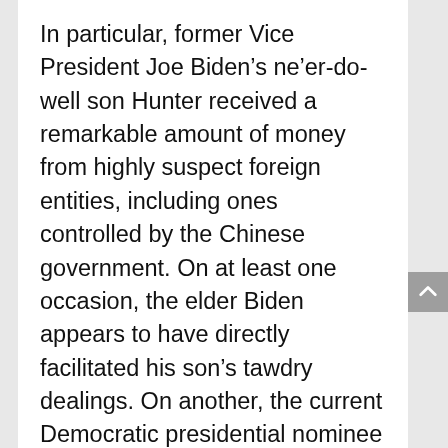In particular, former Vice President Joe Biden’s ne’er-do-well son Hunter received a remarkable amount of money from highly suspect foreign entities, including ones controlled by the Chinese government. On at least one occasion, the elder Biden appears to have directly facilitated his son’s tawdry dealings. On another, the current Democratic presidential nominee ignored an obvious appearance of a conflict of interest that compromised the moral authority of U.S. diplomacy.